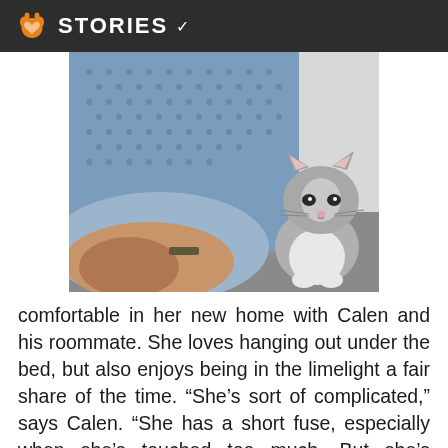STORIES
[Figure (photo): Photo of a person's arm/elbow in a blue patterned shirt next to a fluffy grey and white cat sitting on a grey carpet, looking at the camera with a slightly grumpy expression.]
comfortable in her new home with Calen and his roommate. She loves hanging out under the bed, but also enjoys being in the limelight a fair share of the time. “She’s sort of complicated,” says Calen. “She has a short fuse, especially when she’s touched too much. But she’s grateful for the attention she gets.”